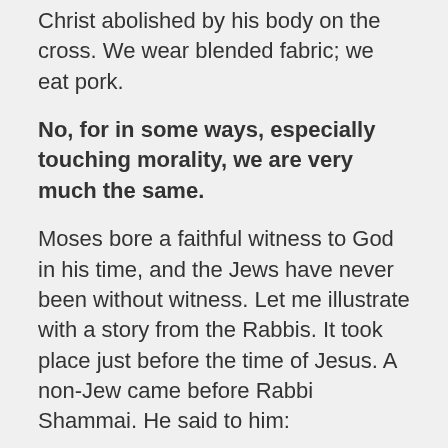Christ abolished by his body on the cross. We wear blended fabric; we eat pork.
No, for in some ways, especially touching morality, we are very much the same.
Moses bore a faithful witness to God in his time, and the Jews have never been without witness. Let me illustrate with a story from the Rabbis. It took place just before the time of Jesus. A non-Jew came before Rabbi Shammai. He said to him:
“I will convert to Judaism on the condition that you teach me the whole